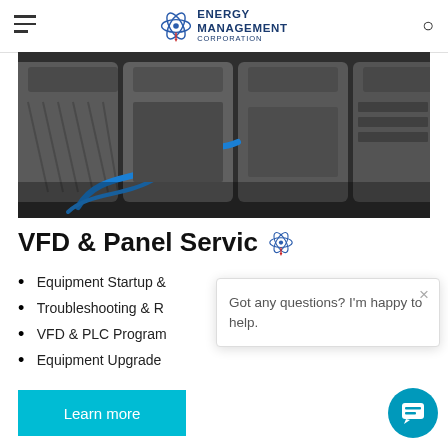ENERGY MANAGEMENT CORPORATION
[Figure (photo): Close-up photo of industrial PLC (Programmable Logic Controller) modules mounted in a rack, with a blue cable visible, dark grey metallic housing]
VFD & Panel Servic
Equipment Startup &
Troubleshooting & R
VFD & PLC Program
Equipment Upgrade
Got any questions? I'm happy to help.
Learn more